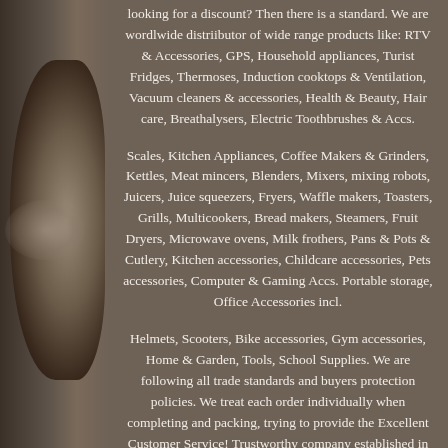looking for a discount? Then there is a standard. We are wordlwide distriibutor of wide range products like: RTV & Accessories, GPS, Household appliances, Turist Fridges, Thermoses, Induction cooktops & Ventilation, Vacuum cleaners & accessories, Health & Beauty, Hair care, Breathalysers, Electric Toothbrushes & Accs.
Scales, Kitchen Appliances, Coffee Makers & Grinders, Kettles, Meat mincers, Blenders, Mixers, mixing robots, Juicers, Juice squeezers, Fryers, Waffle makers, Toasters, Grills, Multicookers, Bread makers, Steamers, Fruit Dryers, Microwave ovens, Milk frothers, Pans & Pots & Cutlery, Kitchen accessories, Childcare accessories, Pets accessories, Computer & Gaming Accs. Portable storage, Office Accessories incl.
Helmets, Scooters, Bike accessories, Gym accessories, Home & Garden, Tools, School Supplies. We are following all trade standards and buyers protection policies. We treat each order individually when completing and packing, trying to provide the Excellent Customer Service! Trustworthy company established in 2008 year.
UK Based company with storages in few countries in Europe. Fast and professional customer service replies within 24hr (usually few hours).
The item "BestWay SWIMMING POOL 305 cm 10FT Garden Round Frame Above Ground Pool Steel Pro" is in sale since Thursday, May 21, 2020. This item is in the category "Garden & Patio\Swimming Pools, Saunas & Hot Tubs\Swimming Pools\Above-Ground Pools". The seller is "bnc-market-ltd" and is